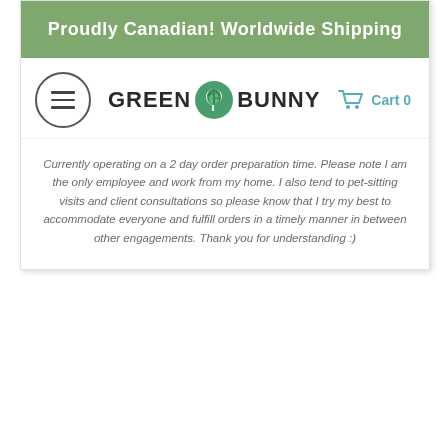Proudly Canadian!  Worldwide Shipping
[Figure (logo): Green Bunny logo with hamburger menu icon and cart icon showing Cart 0]
Currently operating on a 2 day order preparation time.  Please note I am the only employee and work from my home.  I also tend to pet-sitting visits and client consultations so please know that I try my best to accommodate everyone and fulfill orders in a timely manner in between other engagements.  Thank you for understanding :)